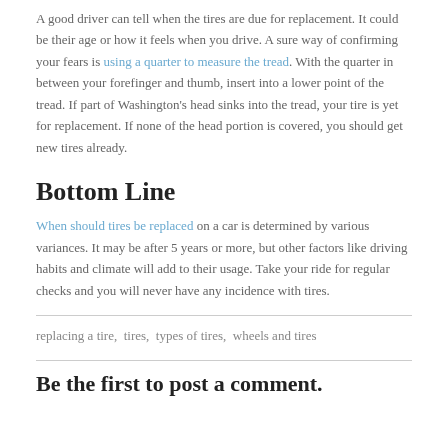A good driver can tell when the tires are due for replacement. It could be their age or how it feels when you drive. A sure way of confirming your fears is using a quarter to measure the tread. With the quarter in between your forefinger and thumb, insert into a lower point of the tread. If part of Washington's head sinks into the tread, your tire is yet for replacement. If none of the head portion is covered, you should get new tires already.
Bottom Line
When should tires be replaced on a car is determined by various variances. It may be after 5 years or more, but other factors like driving habits and climate will add to their usage. Take your ride for regular checks and you will never have any incidence with tires.
replacing a tire,  tires,  types of tires,  wheels and tires
Be the first to post a comment.